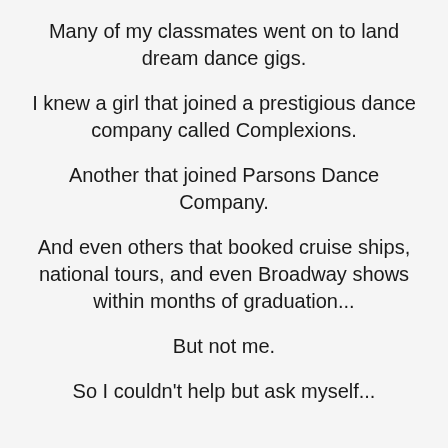Many of my classmates went on to land dream dance gigs.
I knew a girl that joined a prestigious dance company called Complexions.
Another that joined Parsons Dance Company.
And even others that booked cruise ships, national tours, and even Broadway shows within months of graduation...
But not me.
So I couldn't help but ask myself...